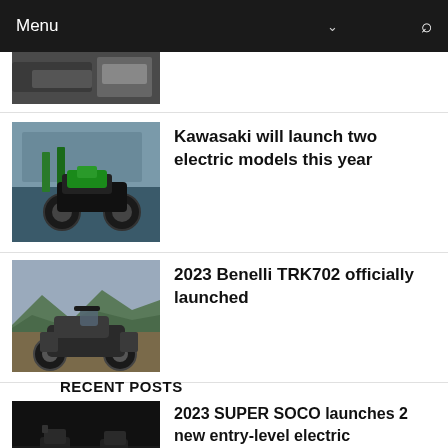Menu
[Figure (photo): Partial thumbnail of a motorcycle at top of list, cropped]
Kawasaki will launch two electric models this year
[Figure (photo): Kawasaki electric motorcycle at an outdoor event with green and black livery]
2023 Benelli TRK702 officially launched
[Figure (photo): Benelli TRK702 adventure motorcycle parked on a hill with mountains in background]
RECENT POSTS
2023 SUPER SOCO launches 2 new entry-level electric motorcycles
[Figure (photo): Two Super Soco electric motorcycles on a dark reflective surface]